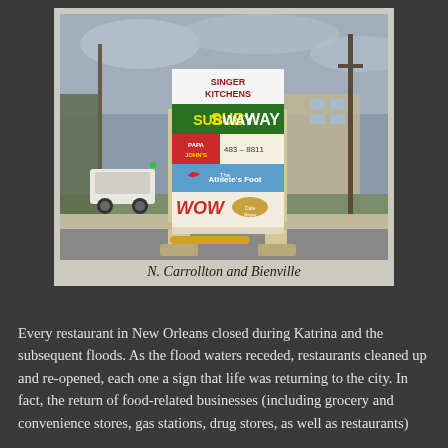[Figure (photo): Outdoor retail strip mall sign showing multiple business logos: Singer Kitchens, Subway, Papa Johns 483-8811, The Athlete's Foot, Wow, and Cafe Megas. Background shows street scene with utility poles and buildings.]
N. Carrollton and Bienville
Every restaurant in New Orleans closed during Katrina and the subsequent floods. As the flood waters receded, restaurants cleaned up and re-opened, each one a sign that life was returning to the city. In fact, the return of food-related businesses (including grocery and convenience stores, gas stations, drug stores, as well as restaurants)